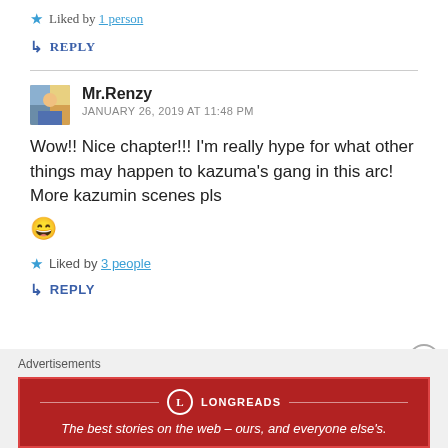★ Liked by 1 person
↳ REPLY
Mr.Renzy
JANUARY 26, 2019 AT 11:48 PM
Wow!! Nice chapter!!! I'm really hype for what other things may happen to kazuma's gang in this arc! More kazumin scenes pls 😄
★ Liked by 3 people
↳ REPLY
Advertisements
[Figure (other): Longreads advertisement banner: red background with Longreads logo and tagline 'The best stories on the web – ours, and everyone else's.']